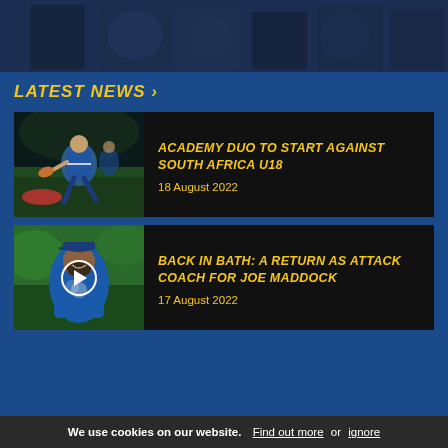[Figure (photo): Dark blue background with people/players silhouettes at top of page]
LATEST NEWS >
[Figure (photo): Rugby player in blue and white kit carrying ball at night match]
ACADEMY DUO TO START AGAINST SOUTH AFRICA U18
18 August 2022
[Figure (photo): Smiling coach in blue training kit with play button overlay]
BACK IN BATH: A RETURN AS ATTACK COACH FOR JOE MADDOCK
17 August 2022
We use cookies on our website. Find out more or ignore